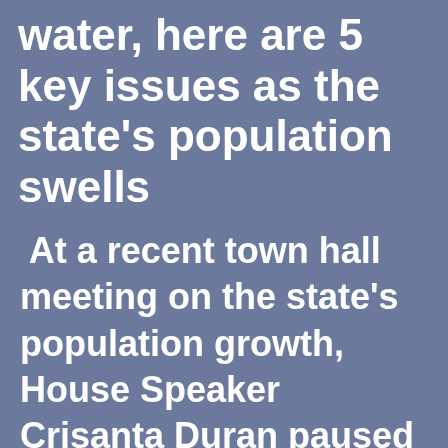water, here are 5 key issues as the state's population swells
At a recent town hall meeting on the state's population growth, House Speaker Crisanta Duran paused a moment to take an informal poll: How many in the audience, the Denver Democrat asked, want